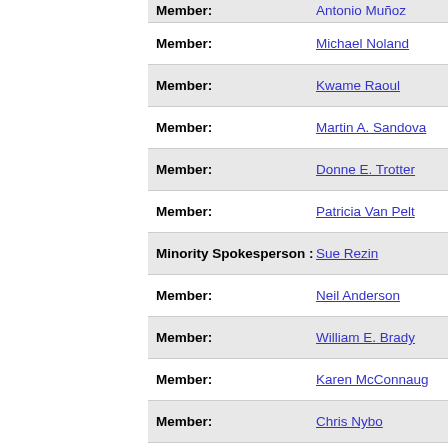| Role | Name |
| --- | --- |
| Member: | Antonio Muñoz |
| Member: | Michael Noland |
| Member: | Kwame Raoul |
| Member: | Martin A. Sandoval |
| Member: | Donne E. Trotter |
| Member: | Patricia Van Pelt |
| Minority Spokesperson : | Sue Rezin |
| Member: | Neil Anderson |
| Member: | William E. Brady |
| Member: | Karen McConnaugh |
| Member: | Chris Nybo |
| Member: | Dave Syverson |
| Member: | Chuck Weaver |
Home | Legislation & Laws | House | Senate
[Figure (logo): Illinois Legislative Information System logo]
This site is maintained for the Illinois General Assembly by the Legislative Information System, 705 Stratton Building, Springfield, Illinois 62706. 217-782-3944   217-782-2050 (TTY)